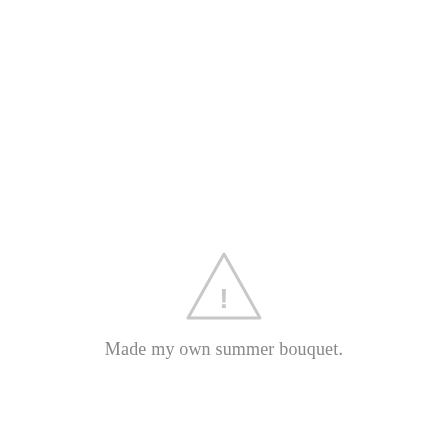[Figure (other): A light gray warning triangle icon with an exclamation mark, indicating a missing or unavailable image placeholder.]
Made my own summer bouquet.